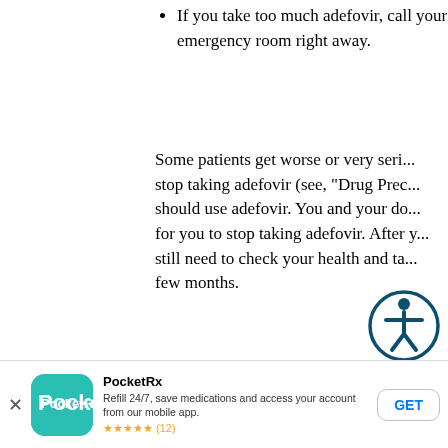If you take too much adefovir, call your emergency room right away.
Some patients get worse or very seriously when they stop taking adefovir (see, "Drug Precautions") who should use adefovir. You and your doctor will decide for you to stop taking adefovir. After you stop, you still need to check your health and take tests for a few months.
What to avoid while taking adefovir:
Avoid doing things that can spread hepatitis B. It can stop you from passing the infection to others.
Do not share needles or any injection equipment...